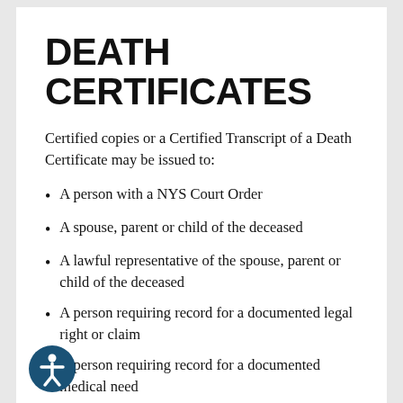DEATH CERTIFICATES
Certified copies or a Certified Transcript of a Death Certificate may be issued to:
A person with a NYS Court Order
A spouse, parent or child of the deceased
A lawful representative of the spouse, parent or child of the deceased
A person requiring record for a documented legal right or claim
A person requiring record for a documented medical need